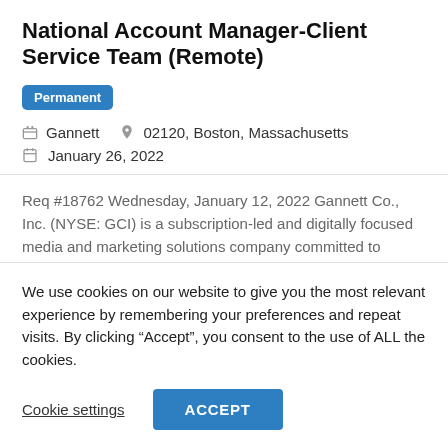National Account Manager-Client Service Team (Remote) Permanent
Gannett   02120, Boston, Massachusetts   January 26, 2022
Req #18762 Wednesday, January 12, 2022 Gannett Co., Inc. (NYSE: GCI) is a subscription-led and digitally focused media and marketing solutions company committed to empowering communities to thrive. With an unmatched
We use cookies on our website to give you the most relevant experience by remembering your preferences and repeat visits. By clicking “Accept”, you consent to the use of ALL the cookies.
Cookie settings   ACCEPT